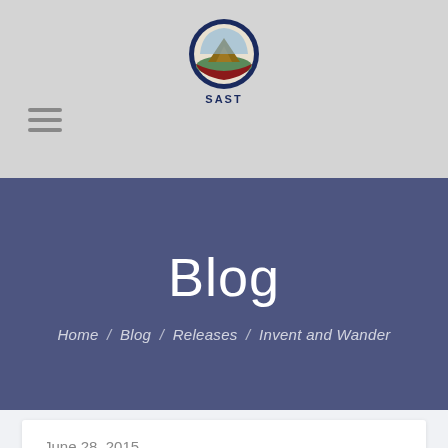[Figure (logo): SAST circular logo with crest and 'SAST' text below]
Blog
Home / Blog / Releases / Invent and Wander
June 28, 2015